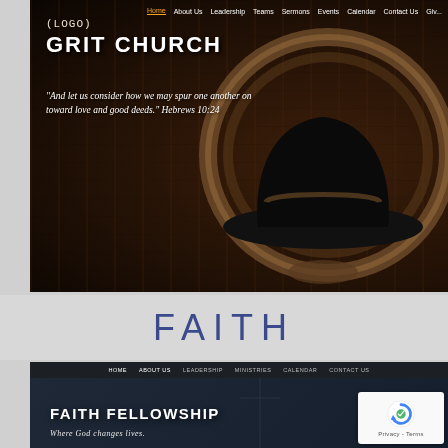[Figure (screenshot): Screenshot of Grit Church website homepage with dark western-themed background featuring a cowboy hat and rope, with navigation bar, logo, and scripture quote]
FAITH
[Figure (screenshot): Screenshot of Faith Fellowship church website homepage with dark background, navigation bar, church name and tagline 'Where God changes lives.' with reCAPTCHA Privacy-Terms badge]